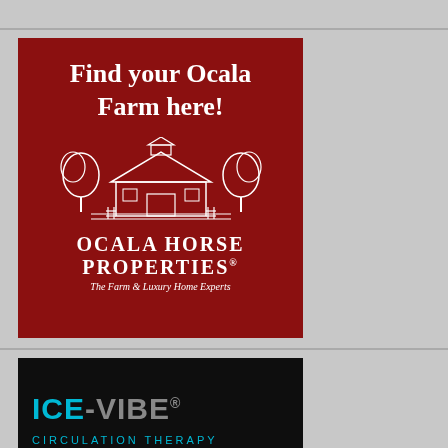[Figure (illustration): Advertisement for Ocala Horse Properties on dark red background. Text: 'Find your Ocala Farm here!' with white barn/farm illustration and logo 'Ocala Horse Properties - The Farm & Luxury Home Experts']
[Figure (logo): Advertisement for ICE-VIBE circulation therapy product. Dark background with teal and grey 'ICE-VIBE' logo text and partial 'CIRCULATION THERAPY' text at bottom.]